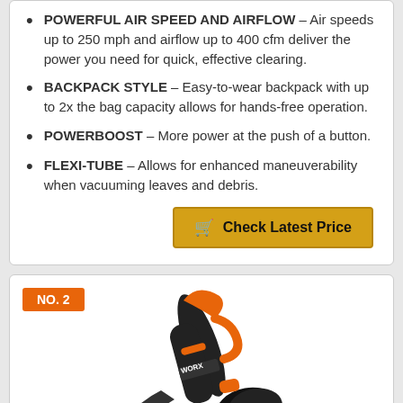POWERFUL AIR SPEED AND AIRFLOW – Air speeds up to 250 mph and airflow up to 400 cfm deliver the power you need for quick, effective clearing.
BACKPACK STYLE – Easy-to-wear backpack with up to 2x the bag capacity allows for hands-free operation.
POWERBOOST – More power at the push of a button.
FLEXI-TUBE – Allows for enhanced maneuverability when vacuuming leaves and debris.
Check Latest Price
NO. 2
[Figure (photo): WORX leaf blower/vacuum product photo showing a black and orange leaf blower with collection bag]